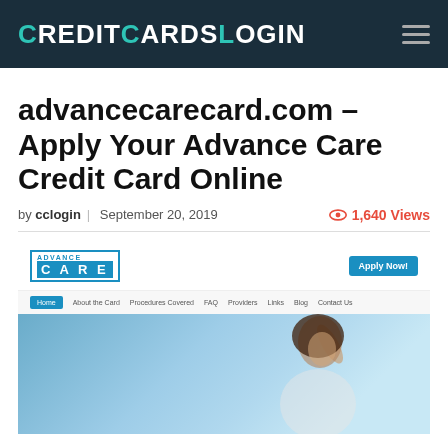CreditCardsLogin
advancecarecard.com – Apply Your Advance Care Credit Card Online
by cclogin | September 20, 2019   1,640 Views
[Figure (screenshot): Screenshot of the advancecarecard.com website showing the Advance Care logo, Apply Now button, navigation menu with Home, About the Card, Procedures Covered, FAQ, Providers, Links, Blog, Contact Us, and a hero image of a woman with her arm raised against a blue background.]